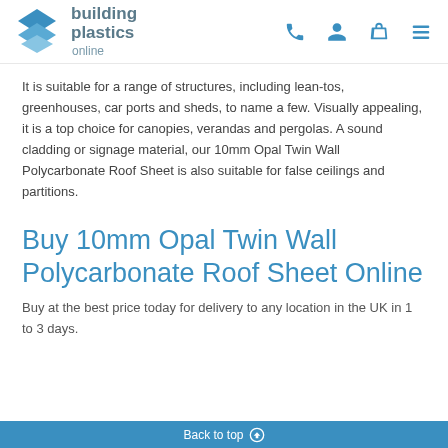building plastics online
It is suitable for a range of structures, including lean-tos, greenhouses, car ports and sheds, to name a few. Visually appealing, it is a top choice for canopies, verandas and pergolas. A sound cladding or signage material, our 10mm Opal Twin Wall Polycarbonate Roof Sheet is also suitable for false ceilings and partitions.
Buy 10mm Opal Twin Wall Polycarbonate Roof Sheet Online
Buy at the best price today for delivery to any location in the UK in 1 to 3 days.
Back to top